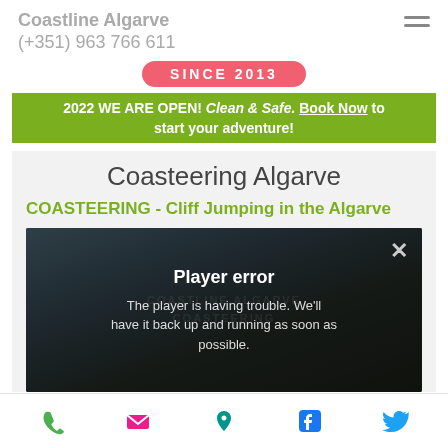Coastline Algarve
(+351) 963 766 611
SINCE 2013
2022 WE ARE OPEN! Clean & Safe. Book Now to start your adventure!
Coasteering Algarve
COASTEERING - Cliff Jumping in the Algarve
[Figure (screenshot): Video player showing a group of people on coastal rocks, with a 'Player error' overlay message: 'The player is having trouble. We'll have it back up and running as soon as possible.']
Phone, Email, Location, Facebook, Twitter icons